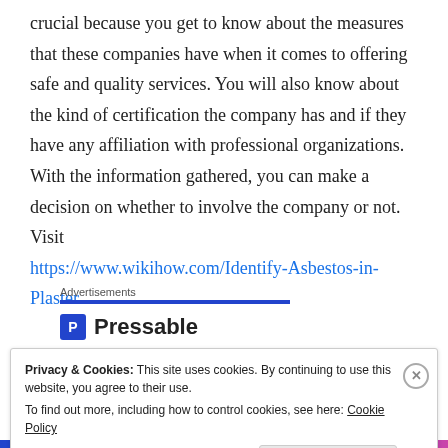crucial because you get to know about the measures that these companies have when it comes to offering safe and quality services. You will also know about the kind of certification the company has and if they have any affiliation with professional organizations. With the information gathered, you can make a decision on whether to involve the company or not. Visit https://www.wikihow.com/Identify-Asbestos-in-Plaster
Advertisements
[Figure (logo): Pressable logo with blue P icon and bold text 'Pressable']
Privacy & Cookies: This site uses cookies. By continuing to use this website, you agree to their use.
To find out more, including how to control cookies, see here: Cookie Policy
Close and accept